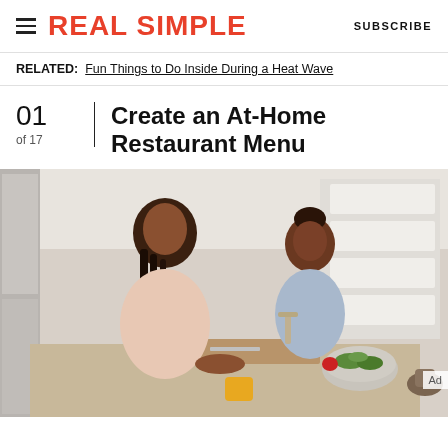REAL SIMPLE  SUBSCRIBE
RELATED: Fun Things to Do Inside During a Heat Wave
01 of 17 Create an At-Home Restaurant Menu
[Figure (photo): A woman with long braids and a young girl smiling at each other while cooking in a bright modern kitchen, with vegetables on the counter including green onions, radishes, and cucumbers in a bowl.]